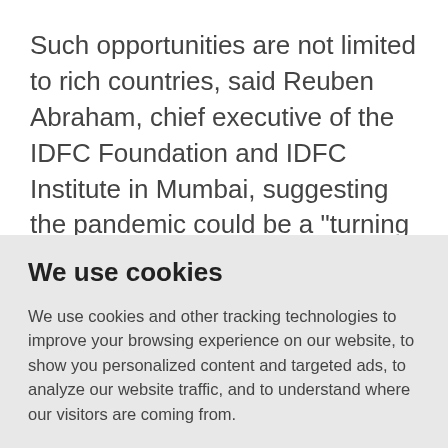Such opportunities are not limited to rich countries, said Reuben Abraham, chief executive of the IDFC Foundation and IDFC Institute in Mumbai, suggesting the pandemic could be a "turning point" for cities in the developing world.
"Is there a way for us to embed the good
We use cookies
We use cookies and other tracking technologies to improve your browsing experience on our website, to show you personalized content and targeted ads, to analyze our website traffic, and to understand where our visitors are coming from.